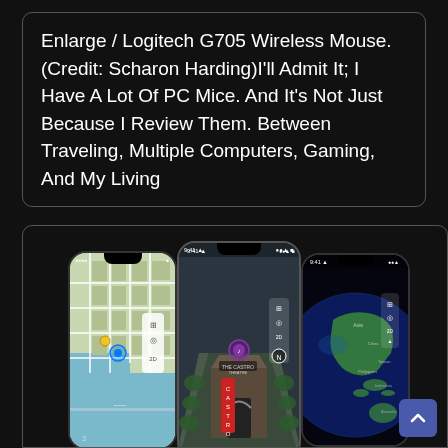Enlarge / Logitech G705 Wireless Mouse. (Credit: Scharon Harding)I'll Admit It; I Have A Lot Of PC Mice. And It's Not Just Because I Review Them. Between Traveling, Multiple Computers, Gaming, And My Living
[Figure (screenshot): Three smartphone screenshots showing Apple Maps: left phone shows 2D street map view of a city waterfront, center phone shows 3D map view of Castro Theatre street in San Francisco, right phone shows globe/satellite view of Earth centered on Asia-Pacific region.]